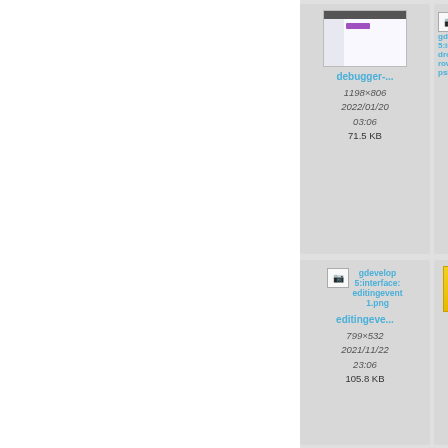[Figure (screenshot): File manager grid view showing image thumbnails with metadata. Left white area is blank. Right side shows two columns of image file cards on gray background.]